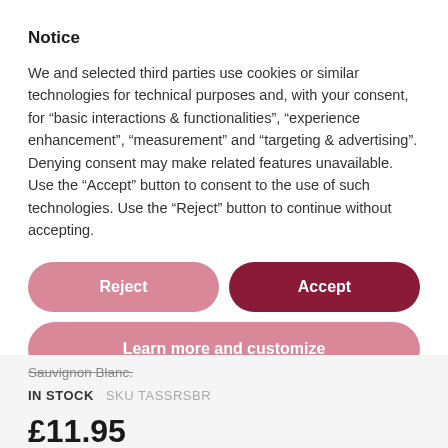Notice
We and selected third parties use cookies or similar technologies for technical purposes and, with your consent, for “basic interactions & functionalities”, “experience enhancement”, “measurement” and “targeting & advertising”. Denying consent may make related features unavailable.
Use the “Accept” button to consent to the use of such technologies. Use the “Reject” button to continue without accepting.
[Figure (other): Reject button (pink/rose pill-shaped button) and Accept button (dark red pill-shaped button) side by side]
[Figure (other): Learn more and customize button (pink/rose full-width pill-shaped button)]
Sauvignon Blanc.
IN STOCK  SKU TASSRSBR
£11.95